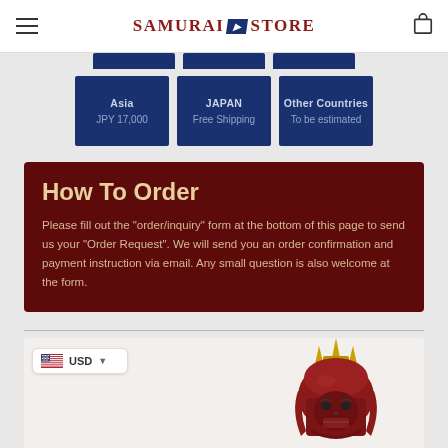Samurai Store
[Figure (infographic): Three partially visible dark blue shipping destination buttons at top]
[Figure (infographic): Three dark blue shipping buttons: Asia JPY 17,000 | JAPAN Free Shipping | Other Countries To be estimated]
How To Order
Please fill out the "order/inquiry" form at the bottom of this page to send us your "Order Request". We will send you an order confirmation and payment instruction via email. Any small question is also welcome at the form.
[Figure (photo): Red samurai helmet (kabuto) with gold horned crest ornament, lower portion visible]
USD